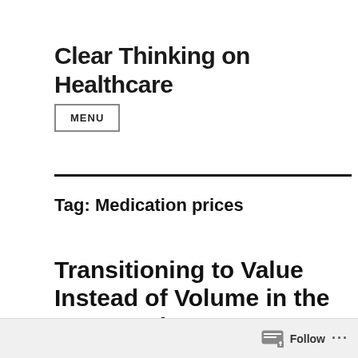Clear Thinking on Healthcare
MENU
Tag: Medication prices
Transitioning to Value Instead of Volume in the Drug Market?
Follow